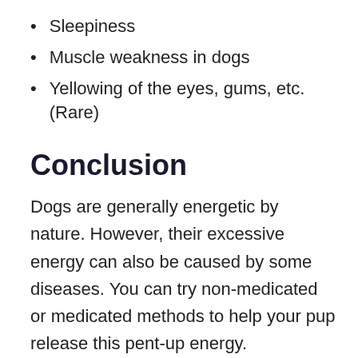Sleepiness
Muscle weakness in dogs
Yellowing of the eyes, gums, etc. (Rare)
Conclusion
Dogs are generally energetic by nature. However, their excessive energy can also be caused by some diseases. You can try non-medicated or medicated methods to help your pup release this pent-up energy.
However, in the case of medicated methods, you should always consult your vet before feeding